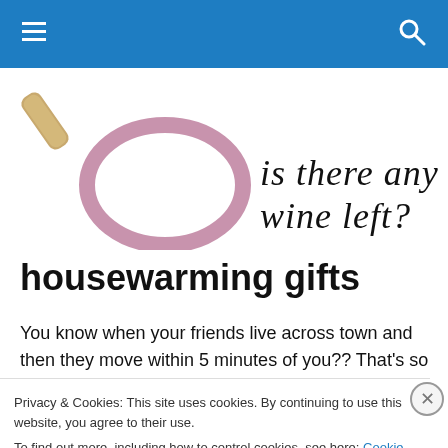Navigation bar with hamburger menu and search icon
[Figure (logo): Blog logo: wine cork and purple wine ring stain on left, handwritten text 'is there any wine left?' on right]
housewarming gifts
You know when your friends live across town and then they move within 5 minutes of you??  That's so fun.  And it
Privacy & Cookies: This site uses cookies. By continuing to use this website, you agree to their use.
To find out more, including how to control cookies, see here: Cookie Policy
Close and accept